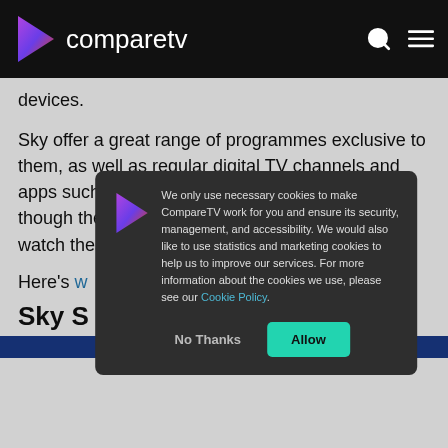compareTV
devices.
Sky offer a great range of programmes exclusive to them, as well as regular digital TV channels and apps such as Netflix, Disney Plus and more – though there are separate apps if you want to watch these platforms on your mobile devices.
Here's w...
Sky S...
[Figure (screenshot): Cookie consent modal overlay with CompareTV logo, cookie policy text, 'No Thanks' and 'Allow' buttons on dark background.]